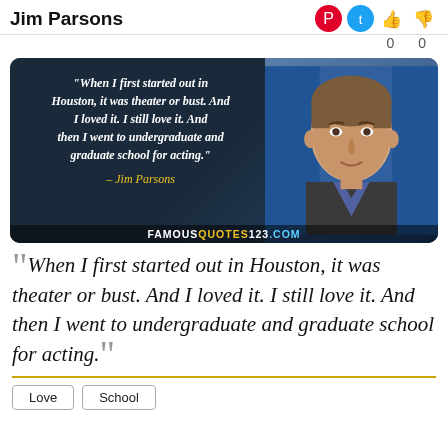Jim Parsons
[Figure (photo): Quote image with dark blue background showing Jim Parsons photo on right side and italic quote text on left: 'When I first started out in Houston, it was theater or bust. And I loved it. I still love it. And then I went to undergraduate and graduate school for acting.' - Jim Parsons. Watermark: FAMOUSQUOTES123.COM]
“When I first started out in Houston, it was theater or bust. And I loved it. I still love it. And then I went to undergraduate and graduate school for acting.”
Love
School